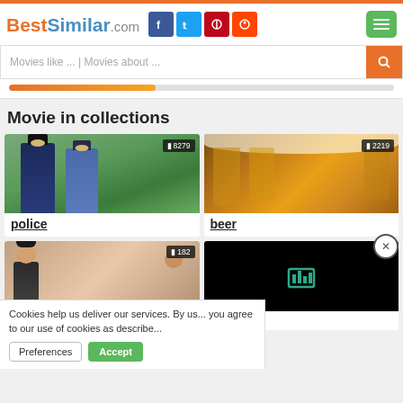BestSimilar.com
Movies like ... | Movies about ...
Movie in collections
[Figure (photo): Two police officers in uniform smiling outdoors, badge count 8279]
police
[Figure (photo): Beer glasses being clinked together, badge count 2219]
beer
[Figure (photo): Customer service people, badge count 182]
[Figure (screenshot): Dark screen with teal chart icon]
Cookies help us deliver our services. By us... you agree to our use of cookies as describe...
Preferences
Accept